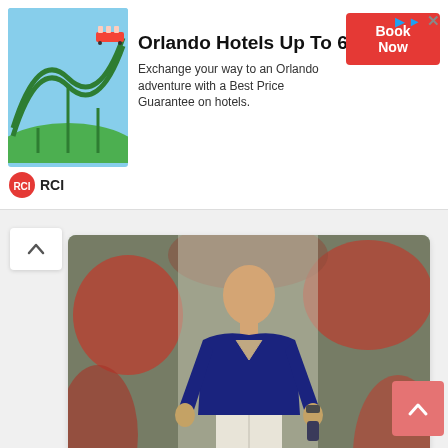[Figure (infographic): RCI advertisement banner: Orlando Hotels Up To 60% Off. Shows a roller coaster image on the left, RCI logo, headline text, description text, and a red Book Now button.]
[Figure (photo): Photo of a man in a navy blue shirt standing in front of a wall covered with red/autumn ivy leaves, wearing light-colored pants and holding something in his right hand.]
[Figure (photo): Black and white portrait photo of a bearded man with styled dark hair, wearing a dark jacket, looking slightly downward.]